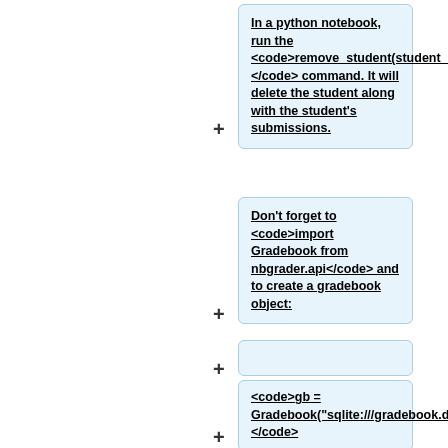In a python notebook, run the <code>remove_student(student_id)</code> command. It will delete the student along with the student's submissions.
Don't forget to <code>import Gradebook from nbgrader.api</code> and to create a gradebook object:
<code>gb = Gradebook("sqlite:///gradebook.db")</code>
<code>gb.remove_student("syweiss15")</code>
<ref>https://nbgrader.readthe...